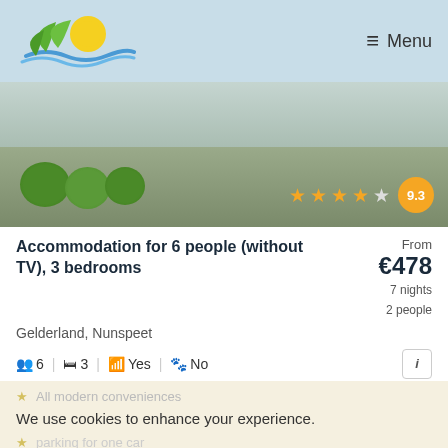Menu
[Figure (photo): Exterior photo of holiday accommodation with patio furniture and round shrubs, rating stars 4.5 and score 9.3]
Accommodation for 6 people (without TV), 3 bedrooms
From €478 7 nights 2 people
Gelderland, Nunspeet
6 | 3 | Yes | No
All modern conveniences
We use cookies to enhance your experience.
parking for one car
Accept all cookies
View